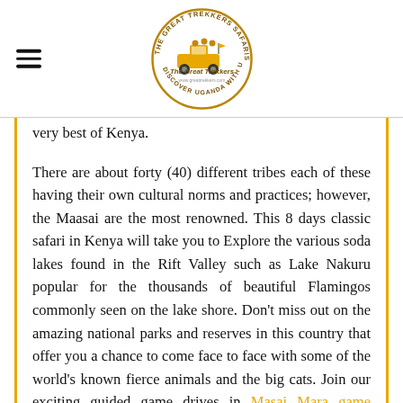[Figure (logo): The Great Trekkers Safaris circular logo with a safari vehicle and text 'Discover Uganda With Us']
very best of Kenya.
There are about forty (40) different tribes each of these having their own cultural norms and practices; however, the Maasai are the most renowned. This 8 days classic safari in Kenya will take you to Explore the various soda lakes found in the Rift Valley such as Lake Nakuru popular for the thousands of beautiful Flamingos commonly seen on the lake shore. Don't miss out on the amazing national parks and reserves in this country that offer you a chance to come face to face with some of the world's known fierce animals and the big cats. Join our exciting guided game drives in Masai Mara game reserve, Meru National Park, Amboseli park, Tsavo East and Tsavo west national parks and Samburu national. We offer you a great